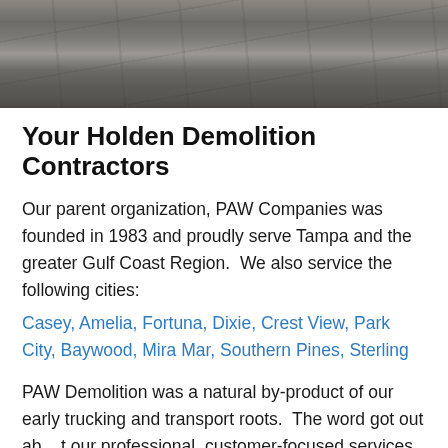[Figure (photo): Aerial or ground-level photo of a concrete or asphalt surface, gray-brown tones, demolition/construction site texture]
Your Holden Demolition Contractors
Our parent organization, PAW Companies was founded in 1983 and proudly serve Tampa and the greater Gulf Coast Region.  We also service the following cities:
Casey, Amelia, Fortuna, Dixie, Crest View, Park City, Baywood, Mira Mar, Southern Pines, Sterling
PAW Demolition was a natural by-product of our early trucking and transport roots.  The word got out about our professional, customer-focused services and...